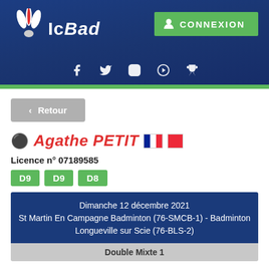[Figure (logo): IcBAD logo with badminton shuttlecock feathers graphic, white text on dark blue background, with CONNEXION green button and social media icons]
< Retour
♀ Agathe PETIT [French flag] [Red badge]
Licence n° 07189585
D9  D9  D8
Dimanche 12 décembre 2021
St Martin En Campagne Badminton (76-SMCB-1) - Badminton Longueville sur Scie (76-BLS-2)
Double Mixte 1